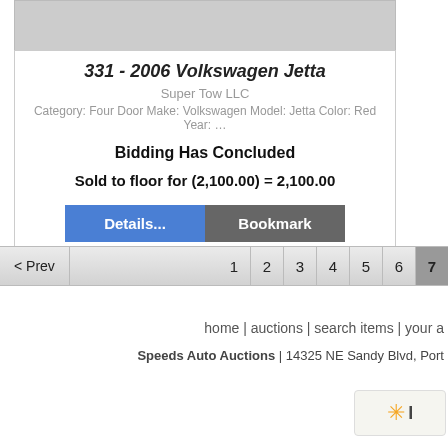[Figure (photo): Partial car image at top of listing card]
331 - 2006 Volkswagen Jetta
Super Tow LLC
Category: Four Door Make: Volkswagen Model: Jetta Color: Red Year: …
Bidding Has Concluded
Sold to floor for (2,100.00) = 2,100.00
Details... Bookmark
< Prev  1  2  3  4  5  6  7
home | auctions | search items | your a
Speeds Auto Auctions | 14325 NE Sandy Blvd, Port